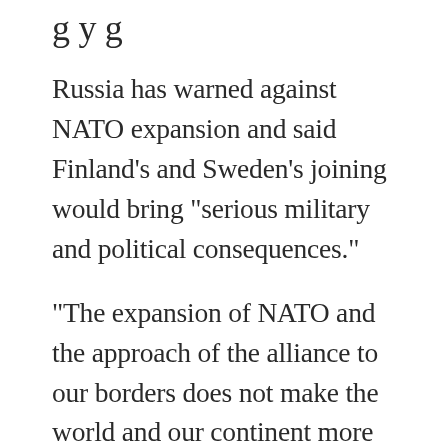Russia has warned against NATO expansion and said Finland's and Sweden's joining would bring “serious military and political consequences.”
“The expansion of NATO and the approach of the alliance to our borders does not make the world and our continent more stable and secure,” Kremlin spokesman Dmitry Peskov told reporters Thursday.
U.S. Defense Secretary Lloyd Austin spoke by phone with his Russian counterpart